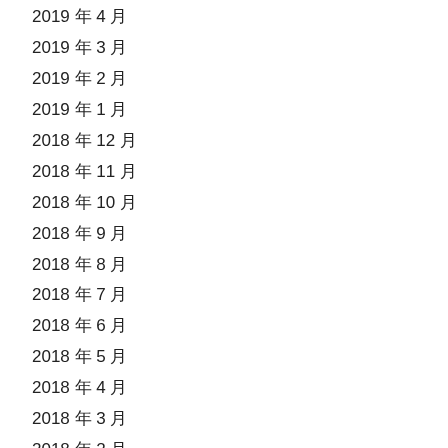2019 年 4 月
2019 年 3 月
2019 年 2 月
2019 年 1 月
2018 年 12 月
2018 年 11 月
2018 年 10 月
2018 年 9 月
2018 年 8 月
2018 年 7 月
2018 年 6 月
2018 年 5 月
2018 年 4 月
2018 年 3 月
2018 年 2 月
2018 年 1 月